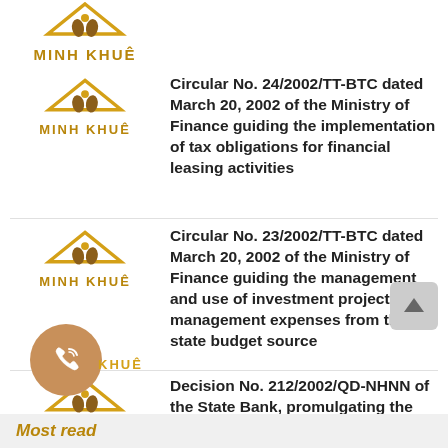MINH KHUE
Circular No. 24/2002/TT-BTC dated March 20, 2002 of the Ministry of Finance guiding the implementation of tax obligations for financial leasing activities
Circular No. 23/2002/TT-BTC dated March 20, 2002 of the Ministry of Finance guiding the management and use of investment project management expenses from the state budget source
Decision No. 212/2002/QD-NHNN of the State Bank, promulgating the technical process for inter-bank electronic clearing payment
Most read